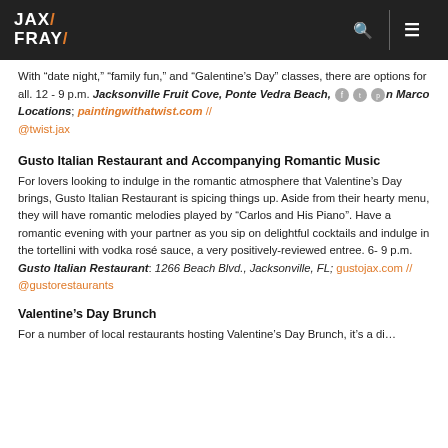JAX FRAY
With “date night,” “family fun,” and “Galentine’s Day” classes, there are options for all. 12 - 9 p.m. Jacksonville Fruit Cove, Ponte Vedra Beach, and Marco Locations; paintingwithatwist.com // @twist.jax
Gusto Italian Restaurant and Accompanying Romantic Music
For lovers looking to indulge in the romantic atmosphere that Valentine’s Day brings, Gusto Italian Restaurant is spicing things up. Aside from their hearty menu, they will have romantic melodies played by “Carlos and His Piano”. Have a romantic evening with your partner as you sip on delightful cocktails and indulge in the tortellini with vodka rosé sauce, a very positively-reviewed entree. 6- 9 p.m. Gusto Italian Restaurant: 1266 Beach Blvd., Jacksonville, FL; gustojax.com // @gustorestaurants
Valentine’s Day Brunch
For a number of local restaurants hosting Valentine’s Day Brunch, it’s a di…